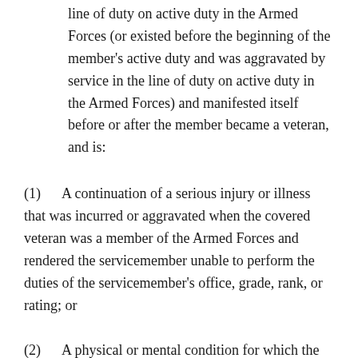line of duty on active duty in the Armed Forces (or existed before the beginning of the member's active duty and was aggravated by service in the line of duty on active duty in the Armed Forces) and manifested itself before or after the member became a veteran, and is:
(1)      A continuation of a serious injury or illness that was incurred or aggravated when the covered veteran was a member of the Armed Forces and rendered the servicemember unable to perform the duties of the servicemember's office, grade, rank, or rating; or
(2)      A physical or mental condition for which the covered veteran has received a U.S. Department of Veterans Affairs Service-Related Disability Rating (VASRD) of fifty percent or greater, and VASRD